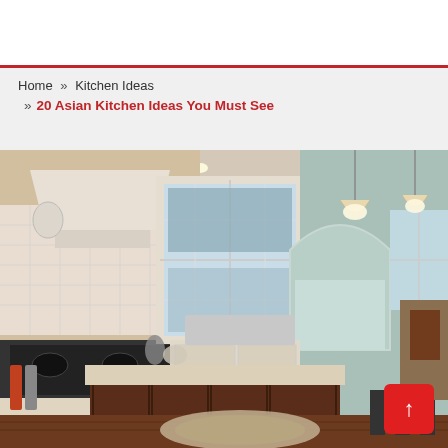Home » Kitchen Ideas » 20 Asian Kitchen Ideas You Must See
[Figure (photo): Large traditional kitchen with white cabinetry, granite countertops, dark wood island, ornate range hood, pendant lighting, arched doorway, and area rug on hardwood floors.]